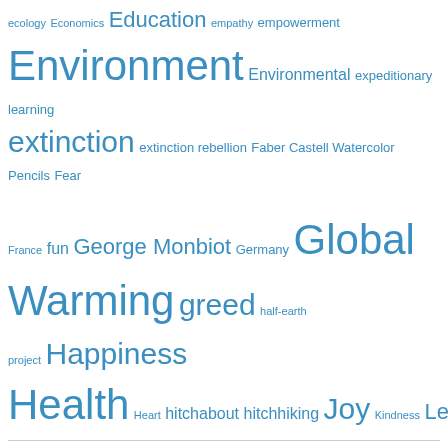[Figure (infographic): Tag cloud with various topics in different font sizes, all in blue. Topics include ecology, Economics, Education, empathy, empowerment, Environment, Environmental, expeditionary learning, extinction, extinction rebellion, Faber Castell Watercolor Pencils, Fear, France, fun, George Monbiot, Germany, Global Warming, greed, half-earth project, Happiness, Health, Heart, hitchabout, hitchhiking, Joy, Kindness, Learning, life, Love, mass extinction, Music, natural world, Nature, Noam Chomsky, painting, photography, physics, Political, Politics, Power, Providence, Rhode Island, Science, spirituality, sustainability, synchronicity, the Natural World, Travel, trees, truth, wildlife, writing.]